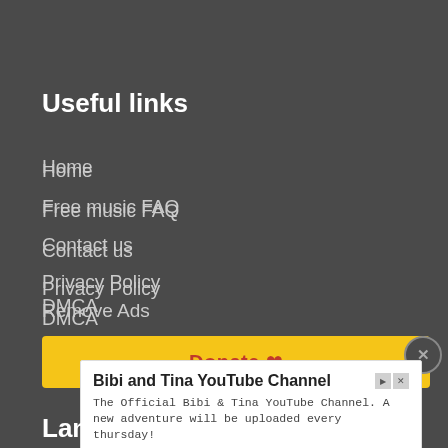Useful links
Home
Free music FAQ
Contact us
Privacy Policy
DMCA
Remove Ads
[Figure (other): Yellow donate button bar with red heart icon]
[Figure (other): Ad overlay for Bibi and Tina YouTube Channel with subscribe button]
Lan